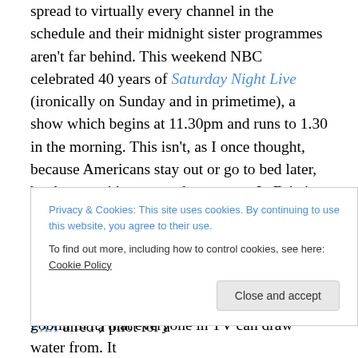spread to virtually every channel in the schedule and their midnight sister programmes aren't far behind. This weekend NBC celebrated 40 years of Saturday Night Live (ironically on Sunday and in primetime), a show which begins at 11.30pm and runs to 1.30 in the morning. This isn't, as I once thought, because Americans stay out or go to bed later, but because it's untapped resources. In Britain at this hour, they start playing movies starring Eric Roberts.
And what if you actually need to bury a show? There was surprise in early February when FXX aired a pilot for a goblin in it) that everyone in TV can draw water from. It
Privacy & Cookies: This site uses cookies. By continuing to use this website, you agree to their use.
To find out more, including how to control cookies, see here: Cookie Policy